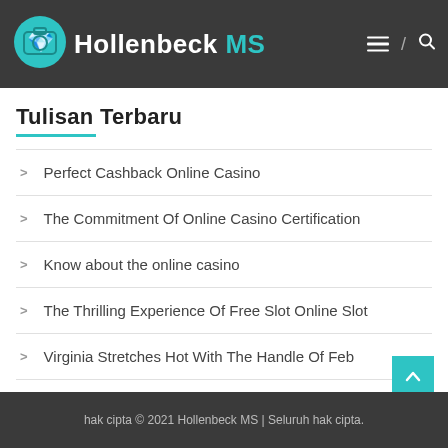Hollenbeck MS
Tulisan Terbaru
Perfect Cashback Online Casino
The Commitment Of Online Casino Certification
Know about the online casino
The Thrilling Experience Of Free Slot Online Slot
Virginia Stretches Hot With The Handle Of Feb
hak cipta © 2021 Hollenbeck MS | Seluruh hak cipta.